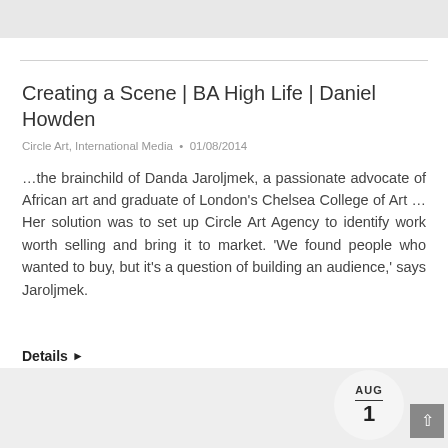Creating a Scene | BA High Life | Daniel Howden
Circle Art, International Media • 01/08/2014
…the brainchild of Danda Jaroljmek, a passionate advocate of African art and graduate of London's Chelsea College of Art … Her solution was to set up Circle Art Agency to identify work worth selling and bring it to market. 'We found people who wanted to buy, but it's a question of building an audience,' says Jaroljmek.
Details ▶